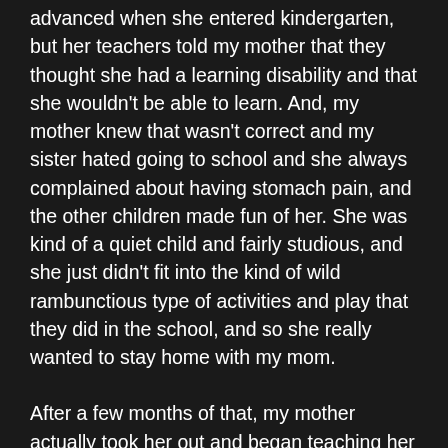advanced when she entered kindergarten, but her teachers told my mother that they thought she had a learning disability and that she wouldn't be able to learn. And, my mother knew that wasn't correct and my sister hated going to school and she always complained about having stomach pain, and the other children made fun of her. She was kind of a quiet child and fairly studious, and she just didn't fit into the kind of wild rambunctious type of activities and play that they did in the school, and so she really wanted to stay home with my mom.
After a few months of that, my mother actually took her out and began teaching her at home as she had done before sending her off to school, but unfortunately, we didn't realize that, in those days, because of compulsory attendance laws, that was against the law, that you weren't allowed to do that because your child had to be in school. And so, we ended up in court facing … possibly even having my sister removed from our home, having